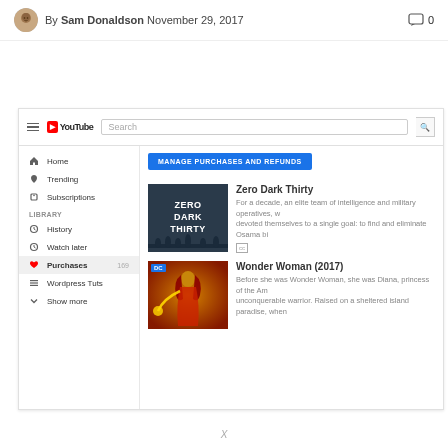By Sam Donaldson November 29, 2017  💬 0
[Figure (screenshot): YouTube interface screenshot showing purchases section with Zero Dark Thirty and Wonder Woman (2017) movies listed. Left sidebar has navigation: Home, Trending, Subscriptions, History, Watch later, Purchases (169), Wordpress Tuts, Show more. Main area shows blue 'MANAGE PURCHASES AND REFUNDS' button and two movie listings.]
X